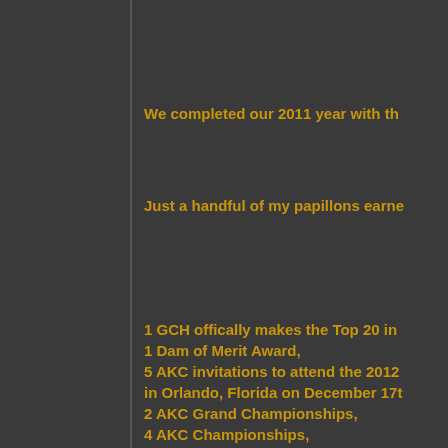We completed our 2011 year with th...
Just a handful of my papillons earne...
1 GCH offically makes the Top 20 in...
1 Dam of Merit Award,
5 AKC invitations to attend the 2012...
in Orlando, Florida on December 17t...
2 AKC Grand Championships,
4 AKC Championships,
2 back to back Toy Group 1's,
a Toy Group 2,
a Toy Group 3,
a Toy Group 4,
167 accumulated AKC breed points ...
55 accumlated Grand Championship...
23 AKC majors (including GCH majo...
(6) 2 pt wins (missing a major by one...
(17)1 point wins
and a ton of reserves to majors of al...